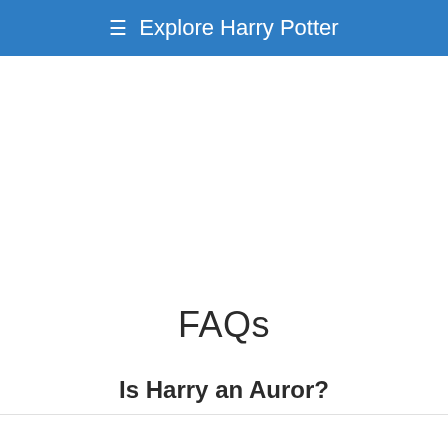≡  Explore Harry Potter
FAQs
Is Harry an Auror?
Yes, Harry became an Auror after the Battle of